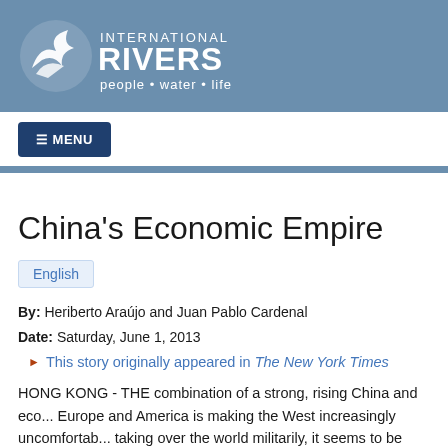[Figure (logo): International Rivers logo with stylized wave/bird icon and text 'INTERNATIONAL RIVERS people • water • life' on a blue-grey background]
☰ MENU
China's Economic Empire
English
By: Heriberto Araújo and Juan Pablo Cardenal
Date: Saturday, June 1, 2013
This story originally appeared in The New York Times
HONG KONG - THE combination of a strong, rising China and eco... Europe and America is making the West increasingly uncomfortab... taking over the world militarily, it seems to be steadily taking it ove... postweek, Chinese companies and investors have sought to h...